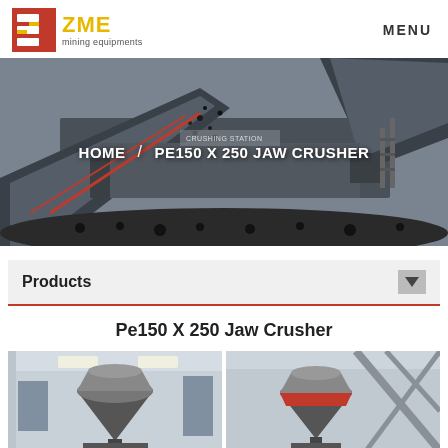ZME mining equipments | MENU
[Figure (photo): Hero banner showing industrial mining crushing station with conveyor belts and heavy machinery processing coal/rock material]
HOME / PE150 X 250 JAW CRUSHER
Products
Pe150 X 250 Jaw Crusher
[Figure (photo): Industrial cone crusher machine in a factory/warehouse setting]
[Figure (photo): Another industrial cone crusher machine with red ring in a factory setting]